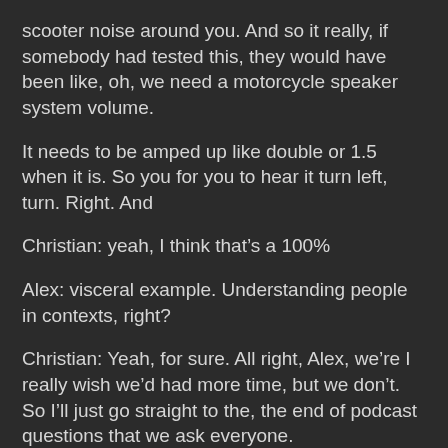scooter noise around you. And so it really, if somebody had tested this, they would have been like, oh, we need a motorcycle speaker system volume.
It needs to be amped up like double or 1.5 when it is. So you for you to hear it turn left, turn. Right. And
Christian: yeah, I think that’s a 100%
Alex: visceral example. Understanding people in contexts, right?
Christian: Yeah, for sure. All right, Alex, we’re I really wish we’d had more time, but we don’t. So I’ll just go straight to the, the end of podcast questions that we ask everyone.